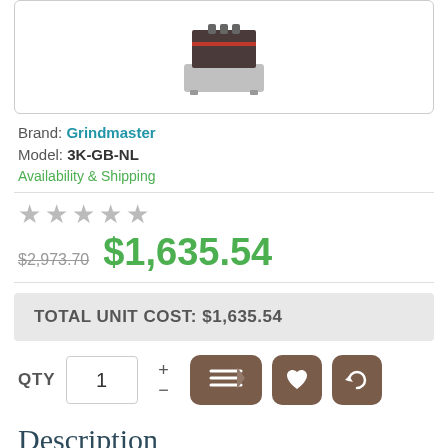[Figure (photo): Product photo of a Grindmaster 3K-GB-NL coffee grinder, gray/silver machine with dark top]
Brand: Grindmaster
Model: 3K-GB-NL
Availability & Shipping
★★★★★ (empty stars rating)
$2,973.70  $1,635.54
TOTAL UNIT COST:  $1,635.54
QTY  1
Description